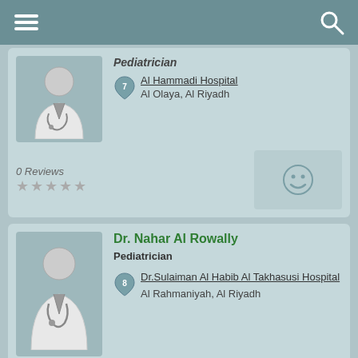Pediatrician
Al Hammadi Hospital
Al Olaya, Al Riyadh
0 Reviews
★★★★★
Dr. Nahar Al Rowally
Pediatrician
Dr.Sulaiman Al Habib Al Takhasusi Hospital
Al Rahmaniyah, Al Riyadh
0 Reviews
★★★★★